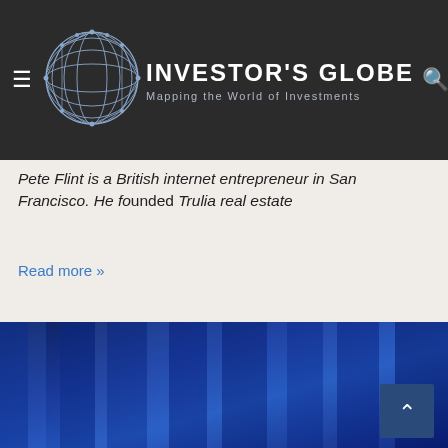INVESTOR'S GLOBE — Mapping the World of Investments
Pete Flint is a British internet entrepreneur in San Francisco. He founded Trulia real estate
Read more »
[Figure (photo): Dark blue background with vertical light streaks, partially visible person at bottom, with a dark blue scroll-to-top button in lower right corner]